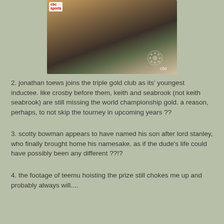[Figure (photo): CBC Sports interview footage showing someone holding a medal with a Chicago Blackhawks logo visible]
2. jonathan toews joins the triple gold club as its' youngest inductee. like crosby before them, keith and seabrook (not keith seabrook) are still missing the world championship gold. a reason, perhaps, to not skip the tourney in upcoming years ??
3. scotty bowman appears to have named his son after lord stanley, who finally brought home his namesake. as if the dude's life could have possibly been any different ??!?
4. the footage of teemu hoisting the prize still chokes me up and probably always will....